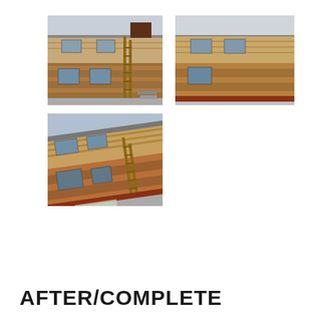[Figure (photo): Exterior of a two-story log/wood-sided building under construction or repair, with a ladder leaning against the upper portion. Workers visible. Plywood and wood siding materials visible.]
[Figure (photo): Exterior side view of the same two-story building showing wood log siding on lower level and plywood/OSB on upper level. Snow or frost on ground.]
[Figure (photo): Angled/tilted view of exterior of the same building showing log siding on lower level, plywood on upper level, and a ladder leaning against the wall. Snow or frost visible on ground.]
AFTER/COMPLETE